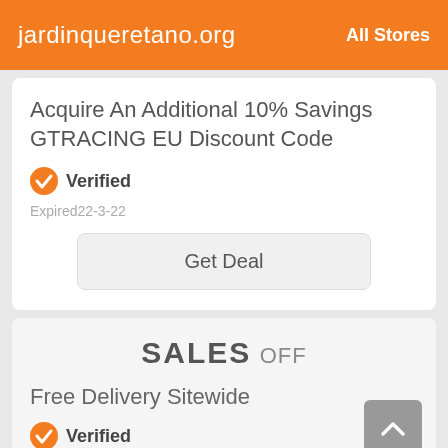jardinqueretano.org   All Stores
Acquire An Additional 10% Savings GTRACING EU Discount Code
Verified
Expired22-3-22
Get Deal
SALES OFF
Free Delivery Sitewide
Verified
Expired2-2-22